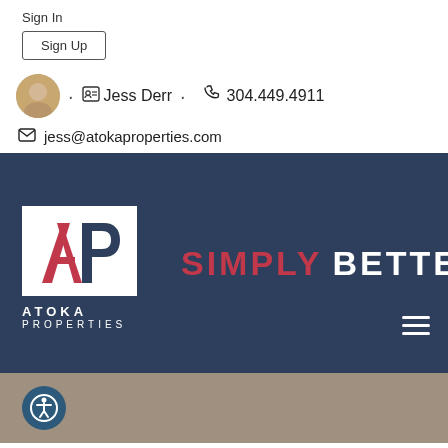Sign In
Sign Up
Jess Derr · 304.449.4911
jess@atokaproperties.com
[Figure (logo): Atoka Properties logo with AP initials in white box and SIMPLY BETTER tagline on dark navy background]
[Figure (illustration): Accessibility icon button (person in circle) on gray background]